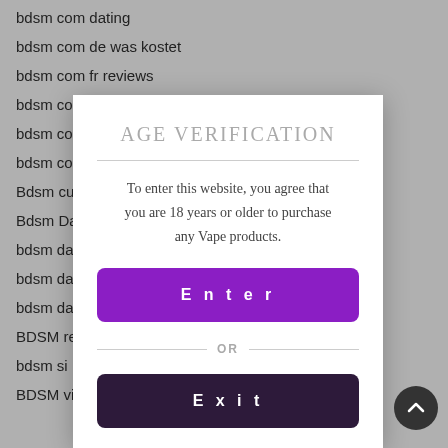bdsm com dating
bdsm com de was kostet
bdsm com fr reviews
bdsm co
bdsm co
bdsm co
Bdsm cu
Bdsm Da
bdsm da
bdsm da
bdsm da
BDSM re
bdsm si
BDSM vi
AGE VERIFICATION
To enter this website, you agree that you are 18 years or older to purchase any Vape products.
Enter
OR
Exit